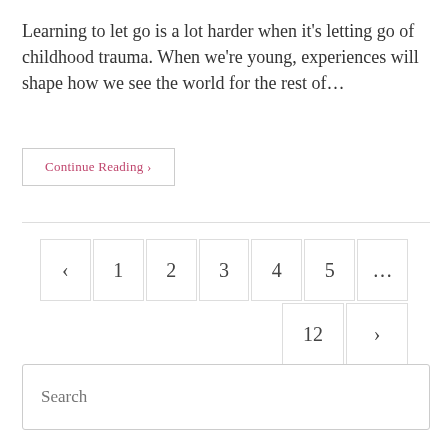Learning to let go is a lot harder when it's letting go of childhood trauma. When we're young, experiences will shape how we see the world for the rest of…
Continue Reading ›
‹ 1 2 3 4 5 … 12 ›